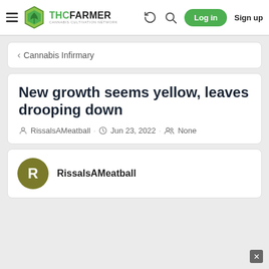THC FARMER - CANNABIS CULTIVATION NETWORK — Log in | Sign up
< Cannabis Infirmary
New growth seems yellow, leaves drooping down
RissalsAMeatball · Jun 23, 2022 · None
RissalsAMeatball